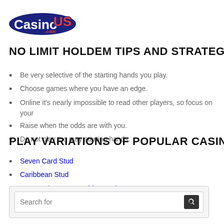[Figure (logo): CasinoUS.com logo with dark blue background oval shape, white text 'Casino', red 'US' text with blue outline, and small '.com' text]
NO LIMIT HOLDEM TIPS AND STRATEGIES
Be very selective of the starting hands you play.
Choose games where you have an edge.
Online it's nearly impossible to read other players, so focus on your
Raise when the odds are with you.
Do not play too may starting hands.
PLAY VARIATIONS OF POPULAR CASINO GAMES
Seven Card Stud
Caribbean Stud
How to Play Texas Hold'em Poker